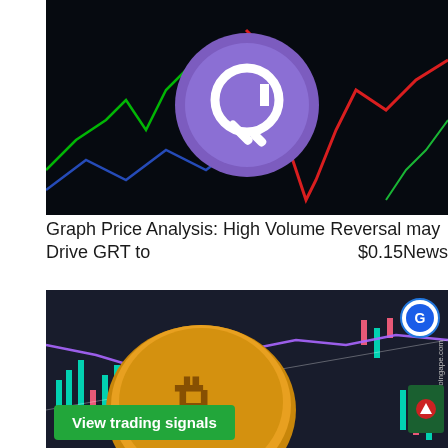[Figure (photo): Dark background with colorful trading chart lines and a purple circular GRT (The Graph) cryptocurrency logo in the center]
Graph Price Analysis: High Volume Reversal may Drive GRT to $0.15News
[Figure (photo): Bitcoin gold coin in front of a dark trading chart with green and red candlesticks and a purple moving average line. Coingape.com watermark on the right. Green 'View trading signals' button at bottom left.]